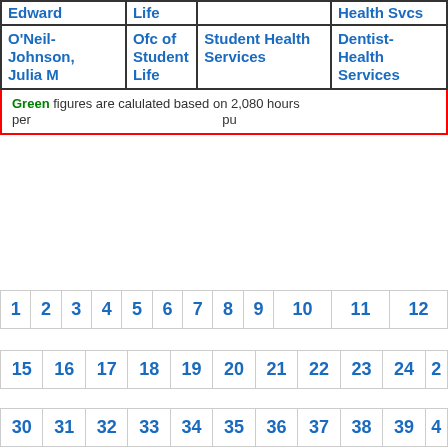| Name | Department | Position/Title | Role |
| --- | --- | --- | --- |
| Edward | Life |  | Health Svcs |
| O'Neil-Johnson, Julia M | Ofc of Student Life | Student Health Services | Dentist-Health Services |
Green figures are calulated based on 2,080 hours per... pu...
| 1 | 2 | 3 | 4 | 5 | 6 | 7 | 8 | 9 | 10 | 11 | 12 |
| 15 | 16 | 17 | 18 | 19 | 20 | 21 | 22 | 23 | 24 | 2 |
| 30 | 31 | 32 | 33 | 34 | 35 | 36 | 37 | 38 | 39 | 4 |